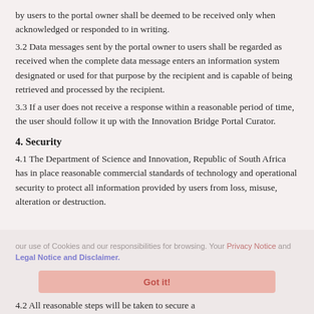by users to the portal owner shall be deemed to be received only when acknowledged or responded to in writing.
3.2 Data messages sent by the portal owner to users shall be regarded as received when the complete data message enters an information system designated or used for that purpose by the recipient and is capable of being retrieved and processed by the recipient.
3.3 If a user does not receive a response within a reasonable period of time, the user should follow it up with the Innovation Bridge Portal Curator.
4. Security
4.1 The Department of Science and Innovation, Republic of South Africa has in place reasonable commercial standards of technology and operational security to protect all information provided by users from loss, misuse, alteration or destruction.
4.2 All reasonable steps will be taken to secure a